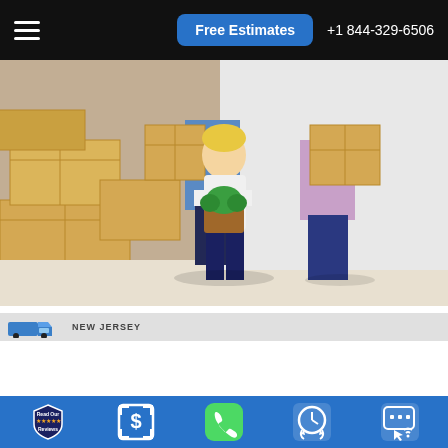Free Estimates  +1 844-329-6506
[Figure (photo): Family moving with cardboard boxes. A smiling blonde child holds a green plant, while two adults carry cardboard boxes in the background. Multiple stacked cardboard boxes are visible on the left.]
[Figure (logo): Moving company logo banner with blue truck icon and text reading NEW JERSEY]
[Figure (infographic): Bottom blue bar with five icons: Read Our Reviews badge with stars, dollar sign in square frame, green phone icon, clock with arrows (24/7), and chat/text bubble with cursor icon]